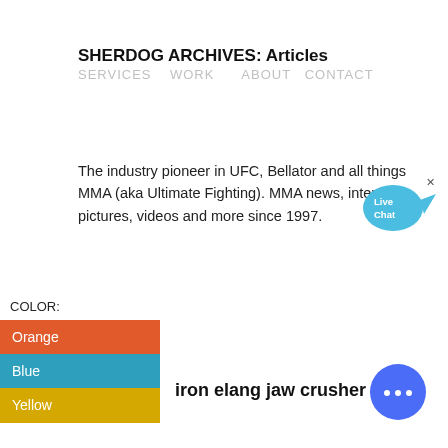SHERDOG ARCHIVES: Articles
SERVICES  WORK    ABOUT  CONTACT
The industry pioneer in UFC, Bellator and all things MMA (aka Ultimate Fighting). MMA news, interviews, pictures, videos and more since 1997.
[Figure (infographic): Live Chat speech bubble icon in blue]
| COLOR: |
| --- |
| Orange |
| Blue |
| Yellow |
iron elang jaw crusher
[Figure (infographic): Blue circular chat button with three dots]